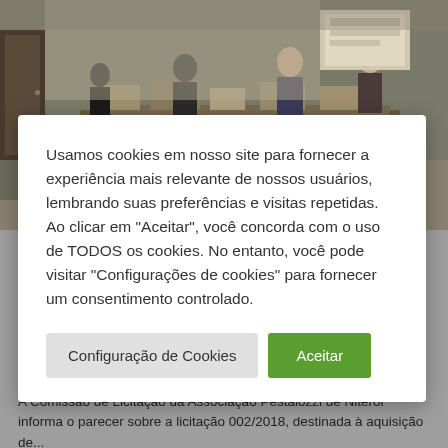[Figure (photo): People working at tables sorting or distributing items in a room, appears to be a community or distribution center activity.]
Usamos cookies em nosso site para fornecer a experiência mais relevante de nossos usuários, lembrando suas preferências e visitas repetidas. Ao clicar em "Aceitar", você concorda com o uso de TODOS os cookies. No entanto, você pode visitar "Configurações de cookies" para fornecer um consentimento controlado.
Configuração de Cookies | Aceitar
INFORME DA COMISSÃO DE LICITAÇÃO
A Comissão de Licitação da Associação Pestalozzi de Niterói informa o parecer sobre a licitação 002/2018, destinada à aquisição de...